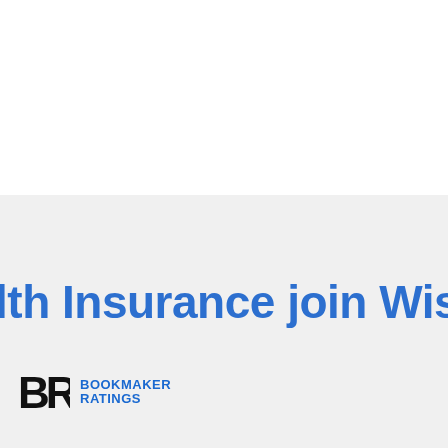alth Insurance join Wisconsin L
[Figure (logo): Bookmaker Ratings logo — BR initials in black with BOOKMAKER RATINGS text in blue]